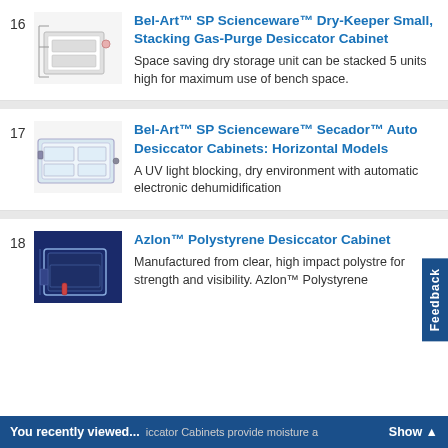16 Bel-Art™ SP Scienceware™ Dry-Keeper Small, Stacking Gas-Purge Desiccator Cabinet — Space saving dry storage unit can be stacked 5 units high for maximum use of bench space.
17 Bel-Art™ SP Scienceware™ Secador™ Auto Desiccator Cabinets: Horizontal Models — A UV light blocking, dry environment with automatic electronic dehumidification
18 Azlon™ Polystyrene Desiccator Cabinet — Manufactured from clear, high impact polystre for strength and visibility. Azlon™ Polystyrene iccator Cabinets provide moisture a
You recently viewed... iccator Cabinets provide moisture a Show ▲